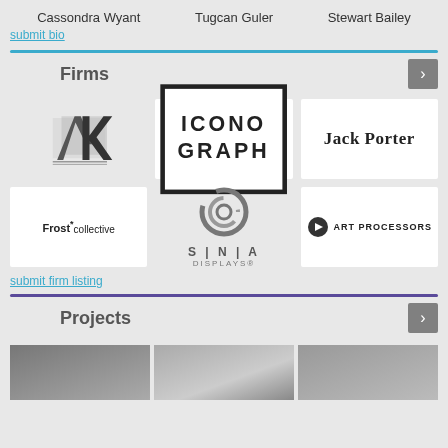Cassondra Wyant
Tugcan Guler
Stewart Bailey
submit bio
Firms
[Figure (logo): AK monogram logo in black and grey geometric style]
[Figure (logo): Iconograph logo in box with bold serif letters]
[Figure (logo): Jack Porter wordmark in bold serif font]
[Figure (logo): Frost*collective logo in sans-serif font]
[Figure (logo): SNA Displays logo with circular graphic mark]
[Figure (logo): Art Processors logo with circular icon and text]
submit firm listing
Projects
[Figure (photo): Grayscale project thumbnail 1]
[Figure (photo): Grayscale project thumbnail 2]
[Figure (photo): Grayscale project thumbnail 3]